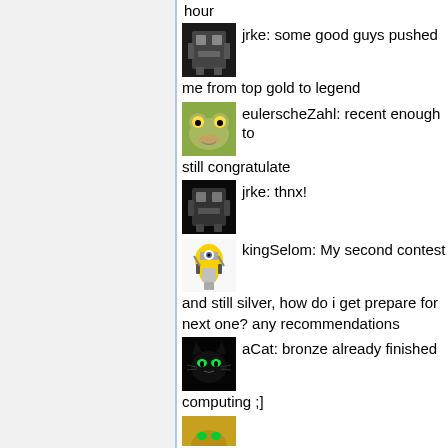hour
jrke: some good guys pushed me from top gold to legend
eulerscheZahl: recent enough to still congratulate
jrke: thnx!
kingSelom: My second contest and still silver, how do i get prepare for next one? any recommendations
aCat: bronze already finished computing ;]